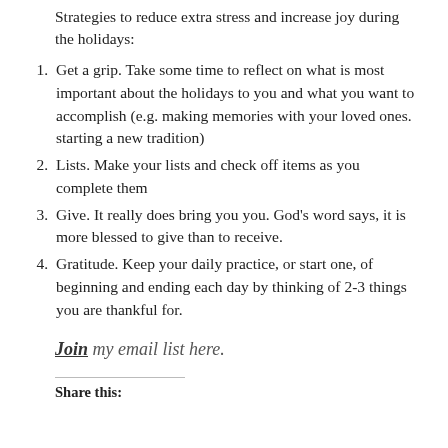Strategies to reduce extra stress and increase joy during the holidays:
Get a grip. Take some time to reflect on what is most important about the holidays to you and what you want to accomplish (e.g. making memories with your loved ones. starting a new tradition)
Lists. Make your lists and check off items as you complete them
Give. It really does bring you you. God’s word says, it is more blessed to give than to receive.
Gratitude. Keep your daily practice, or start one, of beginning and ending each day by thinking of 2-3 things you are thankful for.
Join my email list here.
Share this: